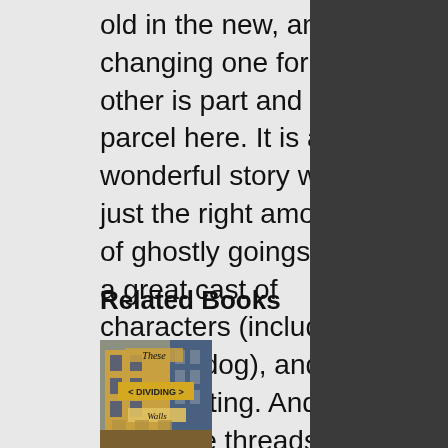old in the new, and changing one for the other is part and parcel here. It is a wonderful story with just the right amount of ghostly goings on, a great cast of characters (including a lovely dog), and a great setting. And whilst the threads are all nicely tied by the end there is enough to think on further, too.
Related Books
[Figure (illustration): Book cover of 'These Dividing Walls' showing a city street scene with buildings, gold and blue tones.]